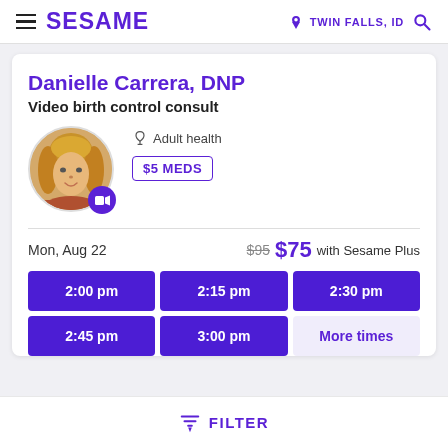SESAME  |  TWIN FALLS, ID
Danielle Carrera, DNP
Video birth control consult
Adult health
$5 MEDS
Mon, Aug 22   $95  $75 with Sesame Plus
2:00 pm
2:15 pm
2:30 pm
2:45 pm
3:00 pm
More times
FILTER